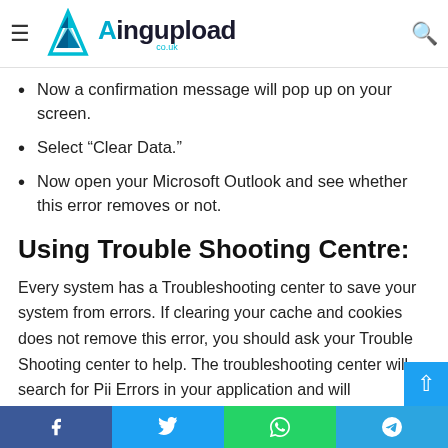Ingupload.co.uk navigation header with logo and search icon
Now a confirmation message will pop up on your screen.
Select “Clear Data.”
Now open your Microsoft Outlook and see whether this error removes or not.
Using Trouble Shooting Centre:
Every system has a Troubleshooting center to save your system from errors. If clearing your cache and cookies does not remove this error, you should ask your Trouble Shooting center to help. The troubleshooting center will search for Pii Errors in your application and will automatically fix it for you. Just follow the following steps to activate your troubleshooting
Facebook Twitter WhatsApp Telegram social share bar